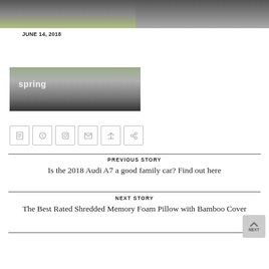[Figure (photo): Two side-by-side image thumbnails at the top — left shows a greenish outdoor photo with dark gradient, right shows a dark gray gradient image]
JUNE 14, 2018
[Figure (photo): Article thumbnail image with text overlay reading 'spring' on a dark gradient background]
[Figure (infographic): Row of six social sharing icon buttons]
PREVIOUS STORY
Is the 2018 Audi A7 a good family car? Find out here
NEXT STORY
The Best Rated Shredded Memory Foam Pillow with Bamboo Cover